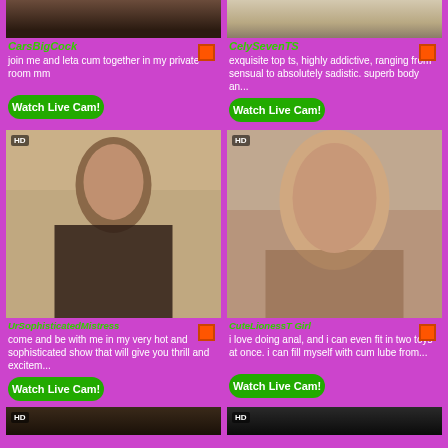[Figure (photo): Partial photo of person, top of page left column]
[Figure (photo): Partial photo of person, top of page right column]
CarsBigCock
join me and leta cum together in my private room mm
Watch Live Cam!
CelySevenTS
exquisite top ts, highly addictive, ranging from sensual to absolutely sadistic. superb body an...
Watch Live Cam!
[Figure (photo): HD photo of person in lingerie sitting on bed, left column]
[Figure (photo): HD photo of person with dark hair, right column]
UrSophisticatedMistress
come and be with me in my very hot and sophisticated show that will give you thrill and excitem...
Watch Live Cam!
CuteLionessT Girl
i love doing anal, and i can even fit in two toys at once. i can fill myself with cum lube from...
Watch Live Cam!
[Figure (photo): HD partial photo bottom left]
[Figure (photo): HD partial photo bottom right]